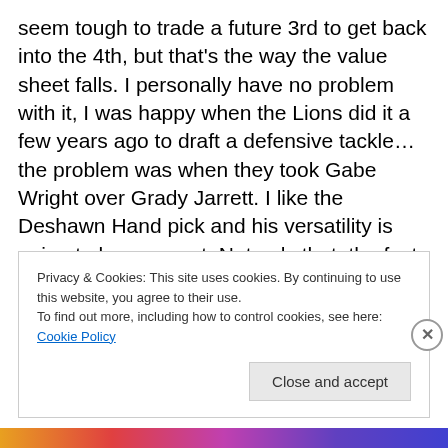seem tough to trade a future 3rd to get back into the 4th, but that's the way the value sheet falls. I personally have no problem with it, I was happy when the Lions did it a few years ago to draft a defensive tackle…the problem was when they took Gabe Wright over Grady Jarrett. I like the Deshawn Hand pick and his versatility is going to be an asset. Not only that, the fact that they're likely going to have 9 picks in the next Draft makes it more palatable. They'll have a 1st, 2nd, 4th, 2 5th's, 2 6th's and 2 7th's…plenty of ammunition to make something good happen.
Privacy & Cookies: This site uses cookies. By continuing to use this website, you agree to their use. To find out more, including how to control cookies, see here: Cookie Policy